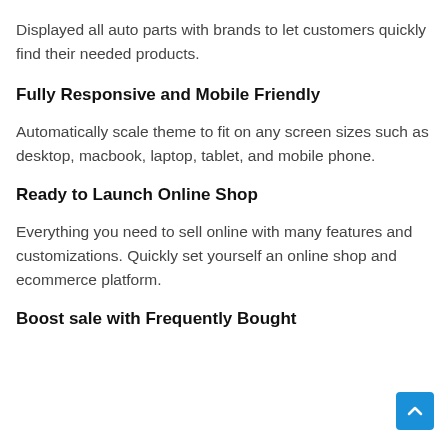Displayed all auto parts with brands to let customers quickly find their needed products.
Fully Responsive and Mobile Friendly
Automatically scale theme to fit on any screen sizes such as desktop, macbook, laptop, tablet, and mobile phone.
Ready to Launch Online Shop
Everything you need to sell online with many features and customizations. Quickly set yourself an online shop and ecommerce platform.
Boost sale with Frequently Bought